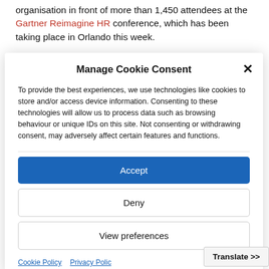organisation in front of more than 1,450 attendees at the Gartner Reimagine HR conference, which has been taking place in Orlando this week.
Manage Cookie Consent
To provide the best experiences, we use technologies like cookies to store and/or access device information. Consenting to these technologies will allow us to process data such as browsing behaviour or unique IDs on this site. Not consenting or withdrawing consent, may adversely affect certain features and functions.
Accept
Deny
View preferences
Cookie Policy   Privacy Policy
Translate >>